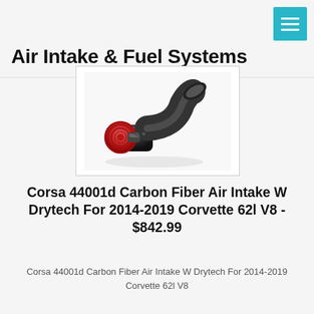Air Intake & Fuel Systems
[Figure (photo): Air intake pipe with red cone filter and curved black tube]
Corsa 44001d Carbon Fiber Air Intake W Drytech For 2014-2019 Corvette 62l V8 - $842.99
Corsa 44001d Carbon Fiber Air Intake W Drytech For 2014-2019 Corvette 62l V8